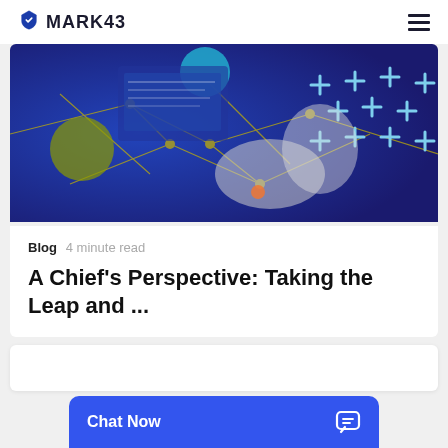MARK43
[Figure (screenshot): Abstract technology image showing a blue background with yellow network lines, plus signs, and hands working on a computer, overlaid with futuristic digital graphics.]
Blog  4 minute read
A Chief’s Perspective: Taking the Leap and ...